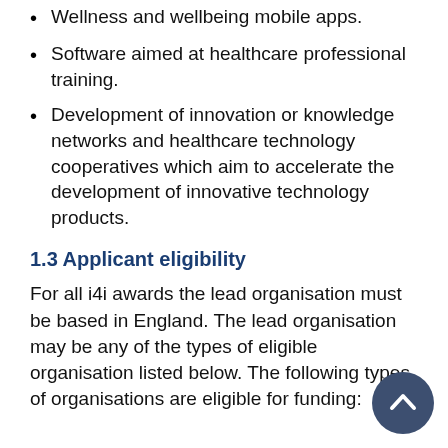Wellness and wellbeing mobile apps.
Software aimed at healthcare professional training.
Development of innovation or knowledge networks and healthcare technology cooperatives which aim to accelerate the development of innovative technology products.
1.3 Applicant eligibility
For all i4i awards the lead organisation must be based in England. The lead organisation may be any of the types of eligible organisation listed below. The following types of organisations are eligible for funding: